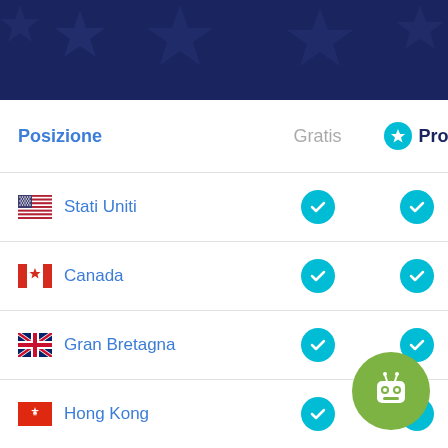[Figure (other): Dark navy blue header banner with star pattern background]
| Posizione | Gratis | Pro |
| --- | --- | --- |
| Stati Uniti | ✓ | ✓ |
| Canada | ✓ | ✓ |
| Gran Bretagna | ✓ | ✓ |
| Hong Kong | ✓ | ✓ |
| Francia | ✓ | ✓ |
| Germania | ✓ | ✓ |
| Olanda | ✓ | ✓ |
[Figure (illustration): Green circle robot/bot icon overlay in bottom right corner]